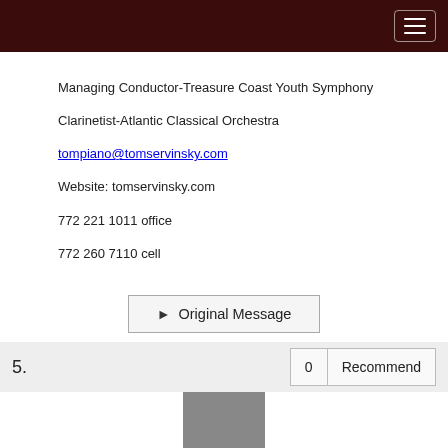Managing Conductor-Treasure Coast Youth Symphony
Clarinetist-Atlantic Classical Orchestra
tompiano@tomservinsky.com
Website: tomservinsky.com
772 221 1011 office
772 260 7110 cell
Original Message
5.
0  Recommend
[Figure (photo): Partial photo visible at bottom of page]